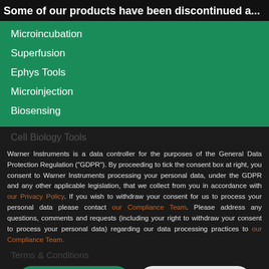Some of our products have been discontinued a...
Microincubation
Superfusion
Ephys Tools
Microinjection
Biosensing
Cell Biology Tools
Warner Instruments is a data controller for the purposes of the General Data Protection Regulation ("GDPR"). By proceeding to tick the consent box at right, you consent to Warner Instruments processing your personal data, under the GDPR and any other applicable legislation, that we collect from you in accordance with our Privacy Policy. If you wish to withdraw your consent for us to process your personal data please contact our Compliance Team. Please address any questions, comments and requests (including your right to withdraw your consent to process your personal data) regarding our data processing practices to our Compliance Team.
Terms & Conditions
CONTACT
Cal...